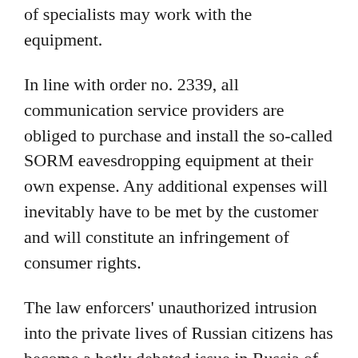of specialists may work with the equipment.
In line with order no. 2339, all communication service providers are obliged to purchase and install the so-called SORM eavesdropping equipment at their own expense. Any additional expenses will inevitably have to be met by the customer and will constitute an infringement of consumer rights.
The law enforcers' unauthorized intrusion into the private lives of Russian citizens has become a hotly debated issue in Russia of late. However, neither operator companies nor their clients have yet openly opposed the introduction of SORM. Operators are wary of losing their license, and, as for the clients, perhaps many of them still remember an interesting precedent established in the summer of 1998.